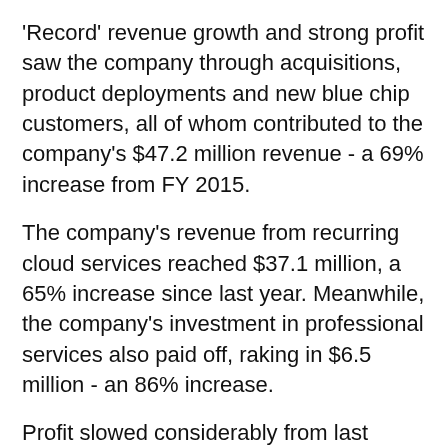'Record' revenue growth and strong profit saw the company through acquisitions, product deployments and new blue chip customers, all of whom contributed to the company's $47.2 million revenue - a 69% increase from FY 2015.
The company's revenue from recurring cloud services reached $37.1 million, a 65% increase since last year. Meanwhile, the company's investment in professional services also paid off, raking in $6.5 million - an 86% increase.
Profit slowed considerably from last year's $4.4 million, however the company still earned $1.7 million in 2016 - accounting for income tax. Cash flows brought in $5.1 million.
Bulletproof also acquired Infoplex and Cloud House between 2015-2016. According to the company, over FY 2017 these acquisitions will contribute $8